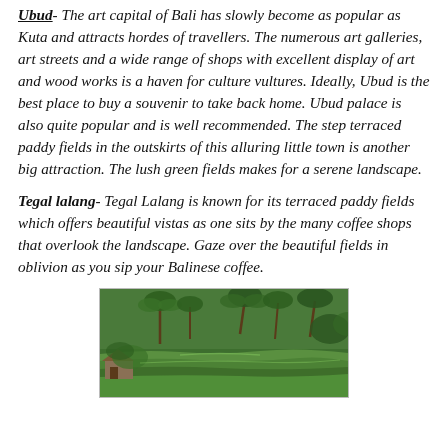Ubud- The art capital of Bali has slowly become as popular as Kuta and attracts hordes of travellers. The numerous art galleries, art streets and a wide range of shops with excellent display of art and wood works is a haven for culture vultures. Ideally, Ubud is the best place to buy a souvenir to take back home. Ubud palace is also quite popular and is well recommended. The step terraced paddy fields in the outskirts of this alluring little town is another big attraction. The lush green fields makes for a serene landscape.
Tegal lalang- Tegal Lalang is known for its terraced paddy fields which offers beautiful vistas as one sits by the many coffee shops that overlook the landscape. Gaze over the beautiful fields in oblivion as you sip your Balinese coffee.
[Figure (photo): Aerial/elevated view of lush green terraced paddy fields in Tegal Lalang, Bali, with palm trees and a small structure/building visible in the lower left corner.]